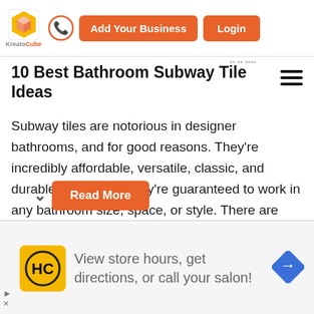KreatoCube | Add Your Business | Login
10 Best Bathroom Subway Tile Ideas
Subway tiles are notorious in designer bathrooms, and for good reasons. They're incredibly affordable, versatile, classic, and durable. Best of all, they're guaranteed to work in any bathroom size, space, or style. There are plenty of looks you can..
Read More
[Figure (screenshot): Advertisement banner: HC logo, text 'View store hours, get directions, or call your salon!', navigation arrow icon]